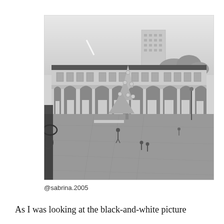[Figure (photo): Black-and-white photograph of a large European square (piazza) with a long neoclassical building facade with arched porticoes, a decorated Christmas tree in the center, a tall modern block building visible behind, and people scattered across the cobblestone plaza. A lamp post is visible in the foreground left.]
@sabrina.2005
As I was looking at the black-and-white picture